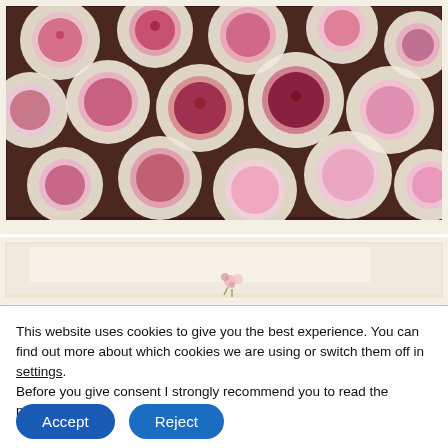[Figure (photo): A photo with a vintage polaroid-style border showing many decorative rosette/cockade medallions made from cream pleated paper with pink floral fabric centers, arranged closely together on a brown surface.]
[Figure (photo): A partial photo (cut off) with vintage polaroid border showing a light cream/beige surface with small pink flowers visible.]
This website uses cookies to give you the best experience. You can find out more about which cookies we are using or switch them off in settings. Before you give consent I strongly recommend you to read the privacy_policy